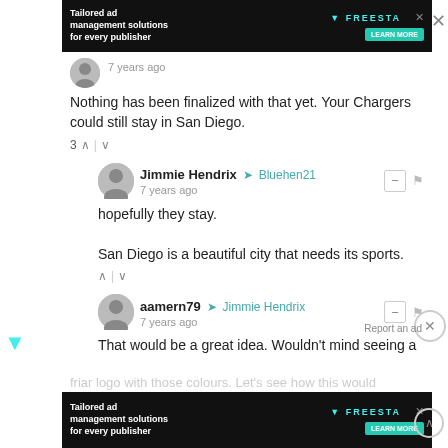[Figure (screenshot): Ad banner: Tailored ad management solutions for every publisher, FREESTA, LEARN MORE button]
7 years ago
Nothing has been finalized with that yet. Your Chargers could still stay in San Diego.
3
Jimmie Hendrix → Bluehen21
7 years ago
hopefully they stay.

San Diego is a beautiful city that needs its sports.
aamern79 → Jimmie Hendrix
7 years ago
That would be a great idea. Wouldn't mind seeing a friar logo with those colours. Let's see how this would look...
Report an ad
Jimmie Hendrix → aamern79
[Figure (screenshot): Ad banner: Tailored ad management solutions for every publisher, FREESTA, LEARN MORE button]